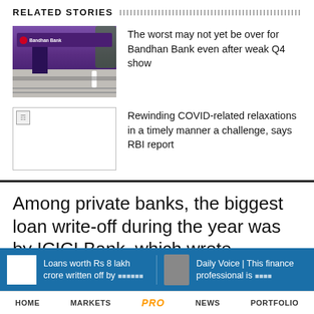RELATED STORIES
[Figure (photo): Photo of Bandhan Bank branch exterior with purple signage and steps]
The worst may not yet be over for Bandhan Bank even after weak Q4 show
[Figure (photo): Broken/missing image placeholder]
Rewinding COVID-related relaxations in a timely manner a challenge, says RBI report
Among private banks, the biggest loan write-off during the year was by ICICI Bank, which wrote
Loans worth Rs 8 lakh crore written off by
Daily Voice | This finance professional is
HOME   MARKETS   PRO   NEWS   PORTFOLIO